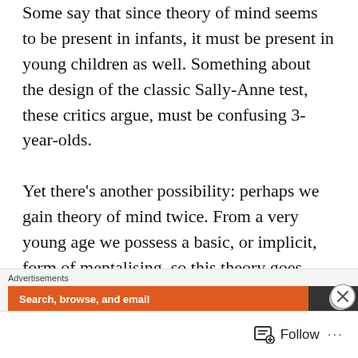Some say that since theory of mind seems to be present in infants, it must be present in young children as well. Something about the design of the classic Sally-Anne test, these critics argue, must be confusing 3-year-olds.

Yet there’s another possibility: perhaps we gain theory of mind twice. From a very young age we possess a basic, or implicit, form of mentalising, so this theory goes, and then around age 4, we develop a more sophisticated version. The implicit system is automatic but limited in its scope; the explicit system, which allows for a more refined understanding of other people’s mental states, is what you need to pass the
[Figure (screenshot): Advertisement bar with orange background reading 'Search, browse, and email' and a dark image panel on the right, plus a close (X) button]
Follow ···